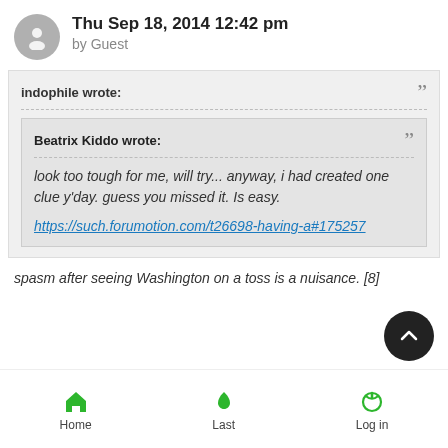Thu Sep 18, 2014 12:42 pm by Guest
indophile wrote:
Beatrix Kiddo wrote:
look too tough for me, will try... anyway, i had created one clue y'day. guess you missed it. Is easy.

https://such.forumotion.com/t26698-having-a#175257
spasm after seeing Washington on a toss is a nuisance. [8]
Home  Last  Log in